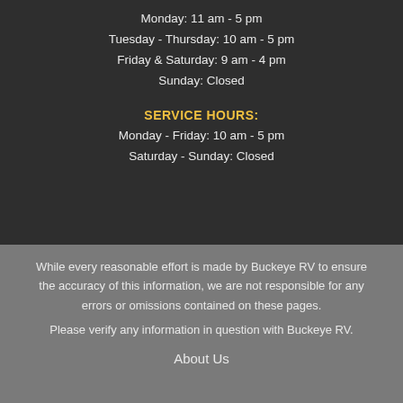Monday: 11 am - 5 pm
Tuesday - Thursday: 10 am - 5 pm
Friday & Saturday: 9 am - 4 pm
Sunday: Closed
SERVICE HOURS
Monday - Friday: 10 am - 5 pm
Saturday - Sunday: Closed
While every reasonable effort is made by Buckeye RV to ensure the accuracy of this information, we are not responsible for any errors or omissions contained on these pages.
Please verify any information in question with Buckeye RV.
About Us